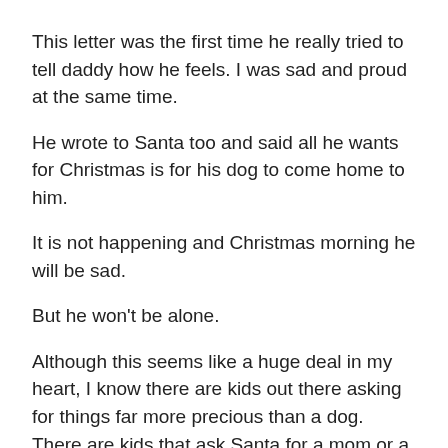This letter was the first time he really tried to tell daddy how he feels. I was sad and proud at the same time.
He wrote to Santa too and said all he wants for Christmas is for his dog to come home to him.
It is not happening and Christmas morning he will be sad.
But he won’t be alone.
Although this seems like a huge deal in my heart, I know there are kids out there asking for things far more precious than a dog. There are kids that ask Santa for a mom or a dad, work for their parents, food to eat or a home. Other kids ask for peace in their lives or for a family to be whole again after divorce.
All of these things break my heart. I wish I had the power